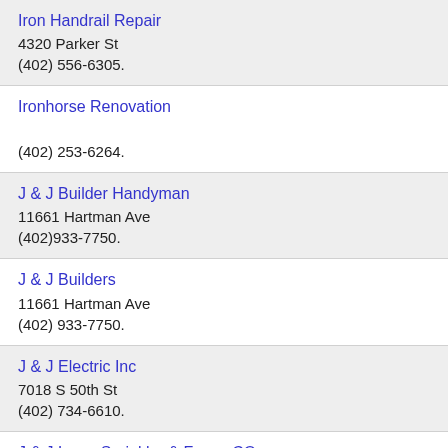Iron Handrail Repair
4320 Parker St
(402) 556-6305.
Ironhorse Renovation

(402) 253-6264.
J & J Builder Handyman
11661 Hartman Ave
(402)933-7750.
J & J Builders
11661 Hartman Ave
(402) 933-7750.
J & J Electric Inc
7018 S 50th St
(402) 734-6610.
J & J Lawn Sprinkler & Fence CO
6405 South 135th Street
(402)333-7713.